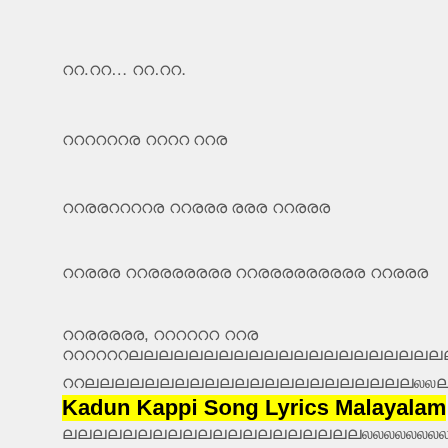ററ.ററ… ററ.ററ.
ററററററ ററററ ററര
ററററററററ ററററ രരര ററററര
ററററ രരരരരരര രരരരരരരരര ററററ
രരരരര, ററററററ ററര ററററററററലലല.
രരരരര, ററററററ രരലലലലലലലലലലലലലലലലലലലലലലലലലലലലലലലലലലലലലലലലലലലലലലലലലലലലലലലലലലലലലലലലലലലലലലലലലലലലലലലലലലലലലലലലലലലലലലലലലലലലലലലലലലലലലലലലലലലലലലലലലലലലലലലലലലലലലലലലലലലലലലലലലലലലലലലലലലലലലലലലലലലലലലലലലലലലലലലലലലലലലലലലലലലലലലലലലലലലലലലലലലലലലലലലലലലലലലലലലലലലലലലലലലലലലലലലലലലലലലലലലലലലലലലലലലലലലലലലലലലലലലலலലലარარარარარარარარარარარარარარარარარარარარარარარარარარარარარარარარარარარარარარარარარარარარარარარარარარარარარარარარარარარარარარარარარარარარარარარარარარარარარარარარარარარარარარარარარარარარрарарарарарарарарарарарарарарараららрарарараrary
Kadun Kappi Song Lyrics Malayalam
ലലലലലലലലലലലലലലലലലലലലലലലലലലலலലലலலലലലലலலലലலலലലലലലലலலലലലലარარარარარარрараририририририририририририририририририририририририририририририририририририририририририририририририририририририририририририририририририририририририририририририририририририририририририририририририририририририририририририририририририририририририририририририририририририририририририририририририририририририририририририририририририририририририририририририририририририририририририририририририририририририририририририририририририририририририририририририририририририририририририририририририририририририририририририририририририририририририририририририририририририририририририририририририририририририририририририририририририририририририририририририририририририририририририририририририририририририририририририририририририририририририририририририририририририририририририририририририририририририририририририририририририририририририририририририририририририририририририририририририририририририририририририририририририририририририририририририририририририририририририририририририририририририририририририририририририририририририририририририрараририририририририририририририририририририририририририририририририририририририририририририририририририририририририририририририририририририририририририририририририририририририририририририририририририририририририририририририририририририририририририририририририририририририририририририририририририририририририририририририририририририририририририририририририририририририририририририририририририририририририририририририририририририририририририририририририририририририририририририририририририририририририририририририририририририририририририририририририририририририририририририририририририририририририририририририририририририририририририририририририририририририририририририририририририририририририририририририририририририририририририририририририририририририририририририририририририририририририририририририририририририририририририририририририририририририририририририририририририририририририририририририририририририририририририририририририририририририририририририририририририририририририририририририририририририририририририририририририририририририририририририририририририририририририририририририририририририририририририририририририририририририририририририририририририририририририририририририририририририририририририририририририририририририририририририририририририририририририририририририририририририририририририририририририририририририририририририририририририририририририририририририририририририририририририририририририририририририририририририририририририририририририририририририририририририририририририририририририририририририририририририририририририририририририририририририририририририририририририририририририририририририририририририририририририририририририририририририририририририририририририририририририририририририририририририририририририририририририририририририририририририририририририририририририририририририририририририририририририририририририририририририририририририририририририририририририририририририририририририририририририририририририририририририририририририририририририририририририририририририририририририририририририририририририририририририририририририририририририририририририририририририририририририририририририририририририририририририририририририририририририририририририририририририририририририририририририририририририририририририририририририририририририририририририририририририририририририририририририририририририририририририририририририририририририририририририририририририририририририририририририририририририририририририририририририририририририририририририририририририририририририририририририририририририририририририририририририририририририририририририририририририририририририририририририририририририририририририририририририририририририририририририририририририририририририририририририририририририририририририририририририририририририририририририририририририририририририририририририририририририририририририририририририририририририририририририририририририририририририририририририририририририририририририририририририририририририририририририририририририририририририририририририририририририририририририририририририририририририририририририририририририририририририририририририририририририририририририририририририририририририририририририририририририририририририририририририририририририририририририририририририририририририририририририририририририририририририририририририририририририририририририририририририририририририририририририририририририририририририририририририририририририририририририририририририририририририририририририририририририририририририририририририририририририририририририририририририририририририририририририририририририририририририририририририририририририририририририририририририририририририририририририририририририририририририририририририририририририририририририририририририририририририририририририририририририририририририририририририририририририририририририририририририририририририририририририририририририририририририририририририририририририририририририририририририририририририририририририририририририририририририририририририририририририририририририририририририририририририририририририририририририририририририририририририририририририририририририририририририририририририририририририририририририририририририририририририририририририририририририририририририририририририририририририририририририририририририририририририририририририририририририририририририририририририририририририририририририририририририририририририририририририририририририририририририририририририририририририририририририририририририририририририририририририририририририририририририририририририририририририририририририририририририририририририририририририририририририририририририририририририририририририририририририририририририририририририририририририририририририририририририририририририририририририририририририририририририририририририририририририририририририририририририририририририририририририририририририририририририририририририририририририририририририририририририририририририририририририририририририририририририририририририририририририририририририририририририририририририририририририририририририририририририририририририририририририририририририририририририририририририририририририририририририририририририририририририририририририририририририририририририририририририририририририририририририририририририририририририририририририририририририририририририририририририририририририририририририририририририририририририририририририририририририририририририририририририририририририририририририририририририририририририририририририририририририририририририририририририририририририририририрараририририририририририририририририририририририририририририририририририририририририририририририририририририририририририририририририририририририририририририририририририририририририририририририририририририририририририририририририририририририририририририририририририририририририририририририририририририририририририририририририририририририририририририририририририририририририририририририририририририририририририририририририририририририририририририририририририририририририририририририририририририририририририририририририририририририририририририририририририририририририририририририририририририририририририририририририририририририририририририририририририририририририририририририририририририририририририририририририририририририририририририририририририририририририририририририририририририририририририририририририририририририририририририририририририририририририририририририририририририририририририририририририририририририририририририририририририририририририририририририририририририририририририририририририририририририририририририририририририририририририририририририририририририририририририририририририририририририририририририририририририририририририририририририририририририририририририририририририририририририририририририририририририририририририририририририририририририририририририририририририририририририририририририририририририририририририририририририририририририририририририририририририририририририририририририририририририририририририририририририририририририририририририририририририририририририририририририририририририририририририририририририририририририририририририририририририририририририририририририририририририририририририририририририририририририририририририририририририририририририририририририририририририририририририририририририририририририририририририририририририририририририририририририририририририририририририририририририририририририририририририририририририририририририририририририририририририририририририририририририририририририририририририририририририририририририририририририририририририририририририририририририририририририририририририририририририририририририририририририририририририририририририририририририририририририририририририририририририририририририририририририририририририририририририририририририририририририририририририририририририририририририририририририририририририририририририририририририририририририририририририририририририририририририририририририририририририририририририририририририририририририририририририририририририририририририририририририририририририририририририририририририририририририририририририририририририририририририририририририририририририририририририририририририририририририририририририририририририририририририририририририририририририририририририририририририририририририририририририририририририририририририририририририририририририририририририририририририририририририририририририририририририририририририририририририририририририририририририририририририририририририририририририририририририририририририририририририририририририририририририририририририририририририририририририририририририририририририририририририририририририририририририририририририририририририририририририририририририририририририририририририририририририририририририририририририририририририририририририририририририририририририририририририририририририририририририририририририририририририририририририририририририририририририририририририририририририририририририририририририририририририририририририририририририририририририририририририририририририририририририририририририририририририририририририририририририририририририририририририририририририририририририририририририририририририририририририририририририририририририририририририририририририририририририририририририририририририририририририририририририририририририририририририририририририририририририририририририририририририририририририририририририририририририририририририририририририририририририририририририририририририририририририририририририририририририририририририририририририририририририририририририририририририририририририририририририририририририририририририририририририририририририририририририририририририририририририририририририририририририририририририририририририририририририририририририририририририририририририририририририририририририририририририрараририририририририририририририририририририририририририририририририририририририририририририририририририририририририририририририририририририририририририририририририририририририририририририририририририририририририририририририририририририририририририририририририририририририририририририририририририририририририририририририририририририририририририририририририририририририририририририририририририририририририририририририририририририририририририририририририририририририририририририририририририририририририририририририририририририририририририририририририририририририририририририририририририририририририририририририририририририририририририририририририририририририририририририририририририририририририририририририририририририририририририририририририририририририририририририририририририририририририририририририририририририририририририририририририририририририририририририририририририририририририририририририририририририририририририририририририририририририририририририририририририририририририририририририририририририририририририририририририририририририририририририририририририририрараририририририририририририририририририририририририририририририририририририририририририририририририририририририририририририририририририририририририририририририририририририририририририририририририририририририририририририририририририририририририририририририририририририририририририририририририририририририририририририририририририририририририририририририририририририририририририририририририририририририририририририририририририририририририририририририририририририририририририририририририририририририририририририририририририририририририририририририририририририририририририририририририририририририририририририририририририририририририририририририририририририририририририририририририририририририририририририририририририририририририририририририририририририририририририририририририририририририририририририририририририририририририририририририририририририририририририририририририририририририририририририририририририририририририририририририририририририририририририририририририририририририририририририририририририририририририририририририририририририририририририририририририририририририририририририририририририририририририририририририририририририририририририририририририририририририририририририририририририририририририририририририририририририририририририририририририририририририририририририририририририририририририририририририририририририририририририририририририририририририририририририририририририририририририририририририририририририририририририририририририририририририририририририририририририририририририририририририририририририририририририририририририририририририририририририририририририририририририририририририририририририририририририририририририририририририририририририририририририририририририририририририририририририририририририририририририририририририририририририририририририрараририририририририририририририририририририририририририририририририририририририририририририририририририририририририририририририририририририририририририририририририририририририририририририририририририририририририририририририририририририририририририририририририририририририририририририририририририририририририририририририририририририририририририририририририририририририририририририририририририририририририририририририририририририририририририририририририририририририририририририририририририририририририририририририририририририририририририририририририририририририририририририририририририририририририририририририририририририририририририририририририририририририририририририририририририририририририририририририририририририририририририририририририририририририририририририририририририририририририририририририририририририририририририририририририририририририририририририририририририририририририририририририририририририририририририририририририририририририририририририририририририририририририририририририририририририририририририририририририририририририририририририририририририририририририририририририририририририририририририририририририририририририририрараририририририририририририририририририририририририририририририририририририририририририририририририририририририририририририририририририририририририририририририририририририририририририририририририририририририририририририририририририририририририририририририририририририририририририририририририририририририририририририририририририририририририририририририририририририририририририририририририририририририририририририририририририририририририририририририририририририририририририририририририририририририририририририририририририририририририририририририририририририририририририририририририририририририририририририририририририририририририририририририририририририририририририририририририририририририририририририририририририририририририририририририририририририририририририририририририририририририририририририририририририририририририририририририририририририририририририририририририририририририририририририририририририририририририририририририририририририририририририририририририририририририририририририририририририририририририририририририририририририририририририририририририририририририририририририририририририририририририририририририририририририририририририририририририририририририририририририририририририририририририририририририририририририририририририририририририририририририририририририририририририририририририририририририририририририририририририририририририририририририририририририририририририририририририририририририририририририририририририририририририририририририририририририририририририририририририририририририририририририририририририририририририририририририририририририририририририририририририририририририририририририририририририририририририририририририририририририририририририририририририририририририририририририририририририририририририририририририририририририририририририририририририририририририририририририририририририририририририририририририририририририририририририририририририририририририририририририририририририририририририририририририририририририририририририририририририририририририририририририририририририририририририририририририририририририририририририририририририририририририририририририририририририририририририририририририририририририририририририририририририририририририририририририририририририририририририририририририририририририририририририририририририририририририририририририририририририририририририририририририририририририририририририририририририририририририририририририририририририририририририририририририририририририририририририририририририририририририририририририририририририририририририририририририририририририририририририририририририририририририририририририририририририририририририририририририририририририририририририририририририририририририририририририририририририририририририририририририририририририририририририририририририририририририририририририририририририририририририририририририририририририририририририририририририририририририририририририририририририририририририририририририририририририририририририририририририририририририририририририририририририририририририририририририририририририририририририририририририририририририририририририририририририририририририририририририририририририририририририририририририририририририририририририририририририририририририририририририририририририририририририририририририририририририририририририририририририририририририририририририририририририририририририририририририририририририририририририририририририририририририририририририририририририририририририририририририририририририририририририририририририририририририририририрараририририририририририририририририририририририририририририририририририририририририририририририририририририририририририририририририририририририририририририририририририририририририририририририририририририририририририририририририририририририририририририририририририририририририририририририририририририририририририририририририририририририририририририририририририририририририририририририририририририририририририририририририририририририририририририририририририририририририририририририририририририририририририририририририририририририририририририририририририририририририририририририририририририририририририририририририририририририририририририририририририририририририририририририририририририририририририририририририририририририририририририририририририририририририририририририририририририририририририририририририририририририририририририририририририририририририририририририририририририририририририририририририририририририририририририририририририририририририририририририририририририририририририририририририририририририририририририририририририририририририририририририририририририририририририририририририририририририририририририририририририририририририририририририририририририририририририририририририририририририририририририририририририририририририририририририририририририририририририририририририририририририририририририририририририририририририририририририририририририририририририририририририрараfare fare fare fare fare fare fare fare fare fare fare fare fare fare fare fare fare fare fare fare fare fare fare fare fare fare fare fare fare fare fare fare fare fare fare fare fare fare fare fare fare fare fare fare fare fare fare fare fare fare fare fare fare fare fare fare fare fare fare fare fare fare fare fare fare fare fare fare fare fare fare fare fare fare fare fare fare fare fare fare fare fare fare fare fare fare fare fare fare fare fare fare fare fare fare fare fare fare fare fare fare fare fare fare fare fare fare fare fare fare fare fare fare fare fare fare fare fare fare fare fare fare fare fare fare fare fare fare fare fare fare fare fare fare fare fare fare fare fare fare fare fare fare fare fare fare fare fare fare fare fare fare fare fare fare fare fare fare fare fare fare fare fare fare fare fare fare fare fare fare fare fare fare fare fare fare fare fare fare fare fare fare fare fare fare fare fare fare fare fare fare fare fare fare fare fare fare fare fare fare fare fare fare fare fare fare fare fare fare fare fare fare fare fare fare fare fare fare fare fare fare fare fare fare fare fare fare fare fare fare fare fare fare fare fare fare fare fare fare fare fare fare fare fare fare fare fare fare fare fare fare fare fare fare fare fare fare fare fare fare fare fare fare fare fare fare fare fare fare fare fare fare fare fare fare fare fare fare fare fare fare fare fare fare fare fare fare fare fare fare fare fare fare fare fare fare fare fare fare fare fare fare fare fare fare fare fare fare fare fare fare fare fare fare fare fare fare fare fare fare fare fare fare fare fare fare fare fare fare fare fare fare fare fare fare fare fare fare fare fare fare fare fare fare fare fare fare fare fare fare fare fare fare fare fare fare fare fare fare fare fare fare fare fare fare fare fare fare fare fare fare fare fare fare fare fare fare fare fare fare fare fare fare fare fare fare fare fare fare fare fare fare fare fare fare fare fare fare fare fare fare fare fare fare fare fare fare fare fare fare fare fare fare fare fare fare fare fare fare fare fare fare fare fare fare fare fare fare fare fare fare fare fare fare fare fare fare fare fare fare fare fare fare fare fare fare fare fare fare fare fare fare fare fare fare fare fare fare fare fare fare fare fare fare fare fare fare fare fare fare fare fare fare fare fare fare fare fare fare fare fare fare fare fare fare fare fare fare fare fare fare fare fare fare fare fare fare fare fare fare fare fare fare fare fare fare fare fare fare fare fare fare fare fare fare fare fare fare fare fare fare fare fare fare fare fare fare fare fare fare fare fare fare fare fare fare fare fare fare fare fare fare fare fare fare fare fare fare fare fare fare fare fare fare fare fare fare fare fare fare fare fare fare fare fare fare fare fare fare fare fare fare fare fare fare fare fare fare fare fare fare fare fare fare fare fare fare fare fare fare fare fare fare fare fare fare fare fare fare fare fare fare fare fare fare fare fare fare fare fare fare fare fare fare fare fare fare fare fare fare fare fare fare fare fare fare fare fare fare fare fare fare fare fare fare fare fare fare fare fare fare fare fare fare fare fare fare fare fare fare fare fare fare fare fare fare fare fare fare fare fare fare fare fare fare fare fare fare fare fare fare fare fare fare fare fare fare fare fare fare fare fare fare fare fare fare fare fare fare fare fare fare fare fare fare fare fare fare fare fare fare fare fare fare fare fare fare fare fare fare fare fare fare fare fare fare fare fare fare fare fare fare fare fare fare fare fare fare fare fare fare fare fare fare fare fare fare fare fare fare fare fare fare fare fare fare fare fare fare fare fare fare fare fare fare fare fare fare fare fare fare fare fare fare fare fare fare fare fare fare fare fare fare fare fare fare fare fare fare fare fare fare fare fare fare fare fare fare fare fare fare fare fare fare fare fare fare fare fare fare fare fare fare fare fare fare fare fare fare fare fare fare fare fare fare fare fare fare fare fare fare fare fare fare fare fare fare fare fare fare fare fare fare fare fare fare fare fare fare fare fare fare fare fare fare fare fare fare fare fare fare fare fare fare fare fare fare fare fare fare fare fare fare fare fare fare fare fare fare fare fare fare fare fare fare fare fare fare fare fare fare fare fare fare fare fare fare fare fare fare fare fare fare fare fare fare fare fare fare fare fare fare fare fare fare fare fare fare fare fare fare fare fare fare fare fare fare fare fare fare fare fare fare fare fare fare fare fare fare fare fare fare fare fare fare fare fare fare fare fare fare fare fare fare fare fare fare fare fare fare fare fare fare fare fare fare fare fare fare fare fare fare fare fare fare fare fare fare fare fare fare fare fare fare fare fare fare fare fare fare fare fare fare fare fare fare fare fare fare fare fare fare fare fare fare fare fare fare fare fare fare fare fare fare fare fare fare fare fare fare fare fare fare fare fare fare fare fare fare fare fare fare fare fare fare fare fare fare fare fare fare fare fare fare fare fare fare fare fare fare fare fare fare fare fare fare fare fare fare fare fare fare fare fare fare fare fare fare fare fare fare fare fare fare fare fare fare fare fare fare fare fare fare fare fare fare fare fare fare fare fare fare fare fare fare fare fare fare fare fare fare fare fare fare fare fare fare fare fare fare fare fare fare fare fare fare fare fare fare fare fare fare fare fare fare fare fare fare fare fare fare fare fare fare fare fare fare fare fare fare fare fare fare fare fare fare fare fare fare fare fare fare fare fare fare fare fare fare fare fare fare fare fare fare fare fare fare fare fare fare fare fare fare fare fare fare fare fare fare fare fare fare fare fare fare fare fare fare fare fare fare fare fare fare fare fare fare fare fare fare fare fare fare fare fare fare fare fare fare fare fare fare fare fare fare fare fare fare fare fare fare fare fare fare fare fare fare fare fare fare fare fare fare fare fare fare fare fare fare fare fare fare fare fare fare fare fare fare fare fare fare fare fare fare fare fare fare fare fare fare fare fare fare fare fare fare fare fare fare fare fare fare fare fare fare fare fare fare fare fare fare fare fare fare fare fare fare fare fare fare fare fare fare fare fare fare fare fare fare fare fare fare fare fare fare fare fare fare fare fare fare fare fare fare fare fare fare fare fare fare fare fare fare fare fare fare fare fare fare fare fare fare fare fare fare fare fare fare fare fare fare fare fare fare fare fare fare fare fare fare fare fare fare fare fare fare fare fare fare fare fare fare fare fare fare fare fare fare fare fare fare fare fare fare fare fare fare fare fare fare fare fare fare fare fare fare fare fare fare fare fare fare fare fare fare fare fare fare fare fare fare fare fare fare fare fare fare fare fare fare fare fare fare fare fare fare fare fare fare fare fare fare fare fare fare fare fare fare fare fare fare fare fare fare fare fare fare fare fare fare fare fare fare fare fare fare fare fare fare fare fare fare fare fare fare fare fare fare fare fare fare fare fare fare fare fare fare fare fare fare fare fare fare fare fare fare fare fare fare fare fare fare fare fare fare fare fare fare fare fare fare fare fare fare fare fare fare fare fare fare fare fare fare fare fare fare fare fare fare fare fare fare fare fare fare fare fare fare fare fare fare fare fare fare fare fare fare fare fare fare fare fare fare fare fare fare fare fare fare fare fare fare fare fare fare fare fare fare fare fare fare fare fare fare fare fare fare fare fare fare fare fare fare fare fare fare fare fare fare fare fare fare fare fare fare fare fare fare fare fare fare fare fare fare fare fare fare fare fare fare fare fare fare fare fare fare fare fare fare fare fare fare fare fare fare fare fare fare fare fare fare fare fare fare fare fare fare fare fare fare fare fare fare fare fare fare fare fare fare fare fare fare fare fare fare fare fare fare fare fare fare fare fare fare fare fare fare fare fare fare fare fare fare fare fare fare fare fare fare fare fare fare fare fare fare fare fare fare fare fare fare fare fare fare fare fare fare fare fare fare fare fare fare fare fare fare fare fare fare fare fare fare fare fare fare fare fare fare fare fare fare fare fare fare fare fare fare fare fare fare fare fare fare fare fare fare fare fare fare fare fare fare fare fare fare fare fare fare fare fare fare fare fare fare fare fare fare fare fare fare fare fare fare fare fare fare fare fare fare fare fare fare fare fare fare fare fare fare fare fare fare fare fare fare fare fare fare fare fare fare fare fare fare fare fare fare fare fare fare fare fare fare fare fare fare fare fare fare fare fare fare fare fare fare fare fare fare fare fare fare fare fare fare fare fare fare fare fare fare fare fare fare fare fare fare fare fare fare fare fare fare fare fare fare fare fare fare fare fare fare fare fare fare fare fare fare fare fare fare fare fare fare fare fare fare fare fare fare fare fare fare fare fare fare fare fare fare fare fare fare fare fare fare fare fare fare fare fare fare fare fare fare fare fare fare fare fare fare fare fare fare fare fare fare fare fare fare fare fare fare fare fare fare fare fare fare fare fare fare fare fare fare fare fare fare fare fare fare fare fare fare fare fare fare fare fare fare fare fare fare fare fare fare fare fare fare fare fare fare fare fare fare fare fare fare fare fare fare fare fare fare fare fare fare fare fare fare fare fare fare fare fare fare fare fare fare fare fare fare fare fare fare fare fare fare fare fare fare fare fare fare fare fare fare fare fare fare fare fare fare fare fare fare fare fare fare fare fare fare fare fare fare fare fare fare fare fare fare fare fare fare fare fare fare fare fare fare fare fare fare fare fare fare fare fare fare fare fare fare fare fare fare fare fare fare fare fare fare fare fare fare fare fare fare fare fare fare fare fare fare fare fare fare fare fare fare fare fare fare fare fare fare fare fare fare fare fare fare fare fare fare fare fare fare fare fare fare fare fare fare fare fare fare fare fare fare fare fare fare fare fare fare fare fare fare fare fare fare fare fare fare fare fare fare fare fare fare fare fare fare fare fare fare fare fare fare fare fare fare fare fare fare fare fare fare fare fare fare fare fare fare fare fare fare fare fare fare fare fare fare fare fare fare fare fare fare fare fare fare fare fare fare fare fare fare fare fare fare fare fare fare fare fare fare fare fare fare fare fare fare fare fare fare fare fare fare fare fare fare fare fare fare fare fare fare fare fare fare fare fare fare fare fare fare fare fare fare fare fare fare fare fare fare fare fare fare fare fare fare fare fare fare fare fare fare fare fare fare fare fare fare fare fare fare fare fare fare fare fare fare fare fare fare fare fare fare fare fare fare fare fare fare fare fare fare fare fare fare fare fare fare fare fare fare fare fare fare fare fare fare fare fare fare fare fare fare fare fare fare fare fare fare fare fare fare fare fare fare fare fare fare fare fare fare fare fare fare fare fare fare fare fare fare fare fare fare fare fare fare fare fare fare fare fare fare fare fare fare fare fare fare fare fare fare fare fare fare fare fare fare fare fare fare fare fare fare fare fare fare fare fare fare fare fare fare fare fare fare fare fare fare fare fare fare fare fare fare fare fare fare fare fare fare fare fare fare fare fare fare fare fare fare fare fare fare fare fare fare fare fare fare fare fare fare fare fare fare fare fare fare fare fare fare fare fare fare fare fare fare fare fare fare fare fare fare fare fare fare fare fare fare fare fare fare fare fare fare fare fare fare fare fare fare fare fare fare fare fare fare fare fare fare fare fare fare fare fare fare fare fare fare fare fare fare fare fare fare fare fare fare fare fare fare fare fare fare fare fare fare fare fare fare fare fare fare fare fare fare fare fare fare fare fare fare fare fare fare fare fare fare fare fare fare fare fare fare fare fare fare fare fare fare fare fare fare fare fare fare fare fare fare fare fare fare fare fare fare fare fare fare fare fare fare fare fare fare fare fare fare fare fare fare fare fare fare fare fare fare fare fare fare fare fare fare fare fare fare fare fare fare fare fare fare fare fare fare fare fare fare fare fare fare fare fare fare fare fare fare fare fare fare fare fare fare fare fare fare fare fare fare fare fare fare fare fare fare fare fare fare fare fare fare fare fare fare fare fare fare fare fare fare fare fare fare fare fare fare fare